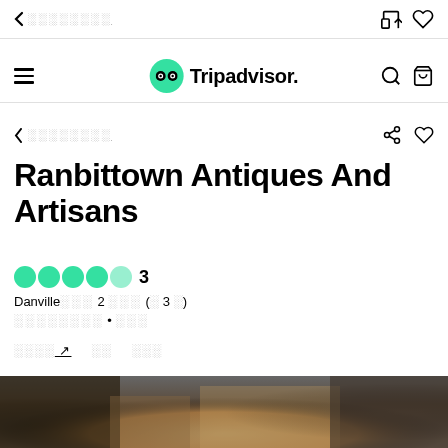◂ ░░░░░░░░
Tripadvisor navigation bar
◂ ░░░░░░░░
Ranbittown Antiques And Artisans
●●●●● 3
Danville░░░ 2 ░░░ (░ 3 ░)
░░░░░░░░ • ░░░
░░░░ ↗  ░░  ░░░
[Figure (photo): Photo strip showing antique shop interior with wooden furniture and dark atmospheric lighting]